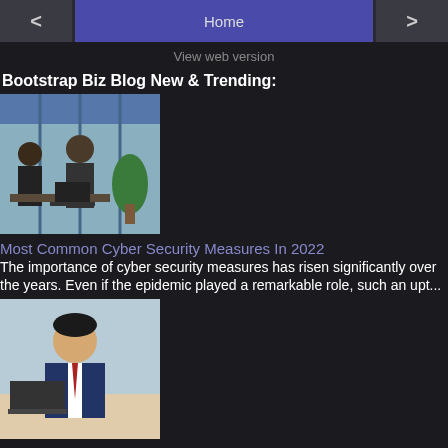< Home >
View web version
Bootstrap Biz Blog New & Trending:
[Figure (photo): Photo of people in an office setting with plants and laptop]
Most Common Cyber Security Measures In 2022
The importance of cyber security measures has risen significantly over the years. Even if the epidemic played a remarkable role, such an upt...
[Figure (photo): Photo of a smiling businessman in a suit sitting at a desk]
How Business Insurance In Stratford Reduces Risks For Sole Proprietors
A sole proprietor is an individual who is the only owner of a business, which makes them entitled to gain all profits after paying taxes. Th...
[Figure (photo): Photo showing charts and graphs icons]